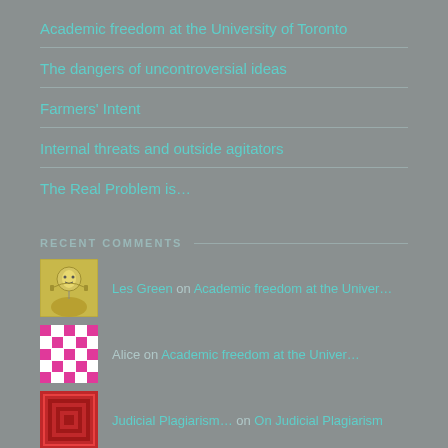Academic freedom at the University of Toronto
The dangers of uncontroversial ideas
Farmers' Intent
Internal threats and outside agitators
The Real Problem is…
RECENT COMMENTS
Les Green on Academic freedom at the Univer…
Alice on Academic freedom at the Univer…
Judicial Plagiarism… on On Judicial Plagiarism